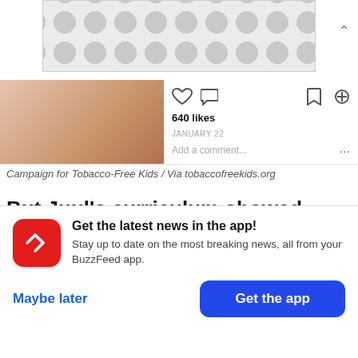[Figure (other): Advertisement banner with polka-dot/bubble pattern background in gray tones]
[Figure (screenshot): Social media post screenshot showing a photo of a person, with like count of 640 likes, a date (January 22), and an add a comment field]
Campaign for Tobacco-Free Kids / Via tobaccofreekids.org
But Juul’s curriculum showed significant gaps, said Halpern-Felsher. It does not mention how the industry targets young people through flavored pods like mango or cucumber, which has been
[Figure (screenshot): BuzzFeed app promotion card with red circular logo with arrow, headline 'Get the latest news in the app!', subtext 'Stay up to date on the most breaking news, all from your BuzzFeed app.', and two buttons: 'Maybe later' and 'Get the app']